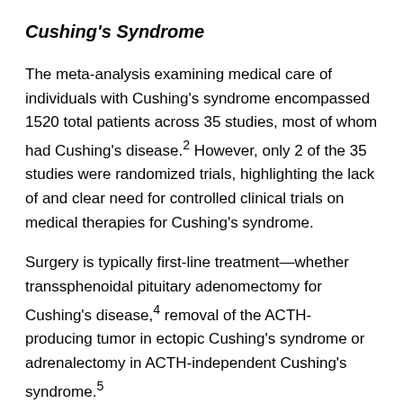Cushing's Syndrome
The meta-analysis examining medical care of individuals with Cushing's syndrome encompassed 1520 total patients across 35 studies, most of whom had Cushing's disease.2 However, only 2 of the 35 studies were randomized trials, highlighting the lack of and clear need for controlled clinical trials on medical therapies for Cushing's syndrome.
Surgery is typically first-line treatment—whether transsphenoidal pituitary adenomectomy for Cushing's disease,4 removal of the ACTH-producing tumor in ectopic Cushing's syndrome or adrenalectomy in ACTH-independent Cushing's syndrome.5
However, many patients require medical therapy owing to